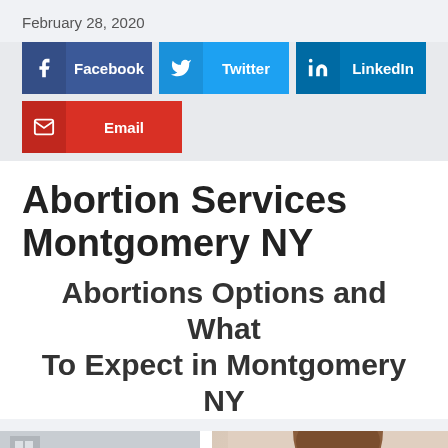February 28, 2020
[Figure (infographic): Social media share buttons: Facebook (dark blue), Twitter (light blue), LinkedIn (dark blue), Email (red)]
Abortion Services Montgomery NY
Abortions Options and What To Expect in Montgomery NY
[Figure (photo): Two partial photos side by side: left shows a room interior, right shows a person with brown hair]